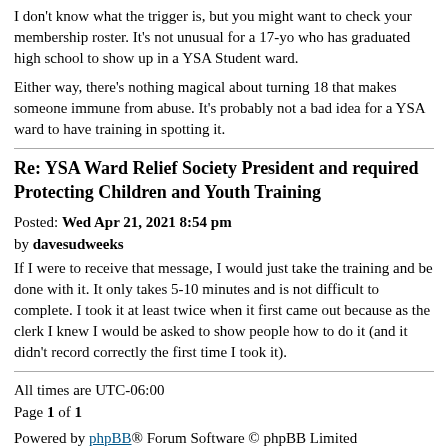I don't know what the trigger is, but you might want to check your membership roster. It's not unusual for a 17-yo who has graduated high school to show up in a YSA Student ward.
Either way, there's nothing magical about turning 18 that makes someone immune from abuse. It's probably not a bad idea for a YSA ward to have training in spotting it.
Re: YSA Ward Relief Society President and required Protecting Children and Youth Training
Posted: Wed Apr 21, 2021 8:54 pm
by davesudweeks
If I were to receive that message, I would just take the training and be done with it. It only takes 5-10 minutes and is not difficult to complete. I took it at least twice when it first came out because as the clerk I knew I would be asked to show people how to do it (and it didn't record correctly the first time I took it).
All times are UTC-06:00
Page 1 of 1
Powered by phpBB® Forum Software © phpBB Limited